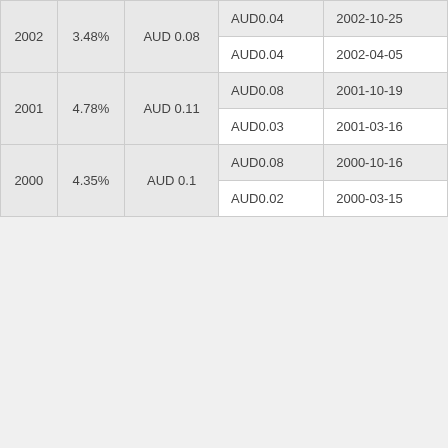| Year | Yield | Total | Amount | Date |
| --- | --- | --- | --- | --- |
| 2002 | 3.48% | AUD 0.08 | AUD0.04 | 2002-10-25 |
| 2002 | 3.48% | AUD 0.08 | AUD0.04 | 2002-04-05 |
| 2001 | 4.78% | AUD 0.11 | AUD0.08 | 2001-10-19 |
| 2001 | 4.78% | AUD 0.11 | AUD0.03 | 2001-03-16 |
| 2000 | 4.35% | AUD 0.1 | AUD0.08 | 2000-10-16 |
| 2000 | 4.35% | AUD 0.1 | AUD0.02 | 2000-03-15 |